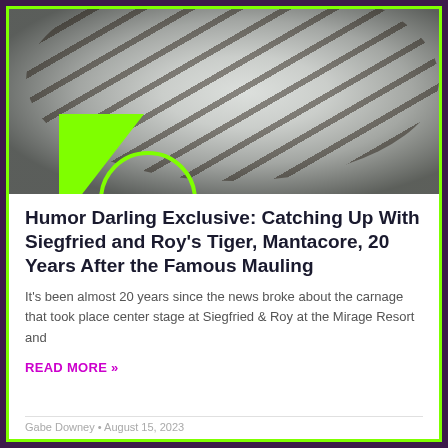[Figure (photo): Close-up photo of a white tiger with black stripes, facing right, against a blurred green background]
Humor Darling Exclusive: Catching Up With Siegfried and Roy's Tiger, Mantacore, 20 Years After the Famous Mauling
It's been almost 20 years since the news broke about the carnage that took place center stage at Siegfried & Roy at the Mirage Resort and
READ MORE »
Gabe Downey • August 15, 2023